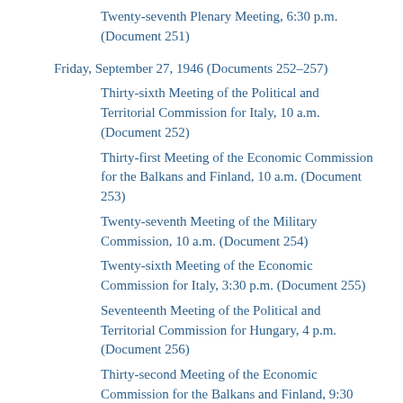Twenty-seventh Plenary Meeting, 6:30 p.m. (Document 251)
Friday, September 27, 1946 (Documents 252–257)
Thirty-sixth Meeting of the Political and Territorial Commission for Italy, 10 a.m. (Document 252)
Thirty-first Meeting of the Economic Commission for the Balkans and Finland, 10 a.m. (Document 253)
Twenty-seventh Meeting of the Military Commission, 10 a.m. (Document 254)
Twenty-sixth Meeting of the Economic Commission for Italy, 3:30 p.m. (Document 255)
Seventeenth Meeting of the Political and Territorial Commission for Hungary, 4 p.m. (Document 256)
Thirty-second Meeting of the Economic Commission for the Balkans and Finland, 9:30 p.m. (Document 257)
Saturday, September 28, 1946 (Documents 258–262)
Thirty-seventh Meeting of the Political and Territorial